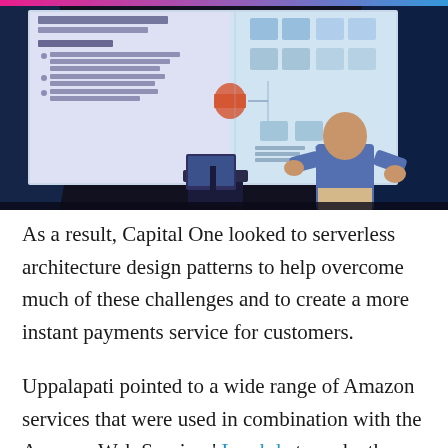[Figure (photo): Conference presentation scene: A speaker in a blue polo shirt stands on a dark stage next to a laptop on a stand. Behind him is a large projection screen showing a slide with bullet points about 'Pace of change' including 'Monthly release cycles dependent on multiple other features and teams', 'Multiple IPS and System teams', 'Manual change orders with 7 day wait time', and an architecture diagram on the right side of the slide. The room is dimly lit with blue lighting on the sides.]
As a result, Capital One looked to serverless architecture design patterns to help overcome much of these challenges and to create a more instant payments service for customers.
Uppalapati pointed to a wide range of Amazon services that were used in combination with the Amazon Web Services' Lambda to make the